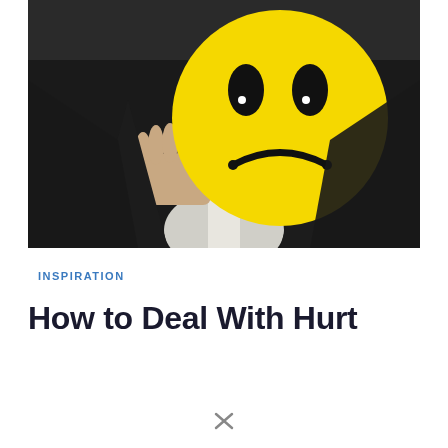[Figure (photo): A person in a dark suit holding up a large yellow sad face emoji/smiley face disc in front of their face. The background is dark/grey. The yellow circle has black oval eyes with white highlight dots and a downturned frown mouth.]
INSPIRATION
How to Deal With Hurt